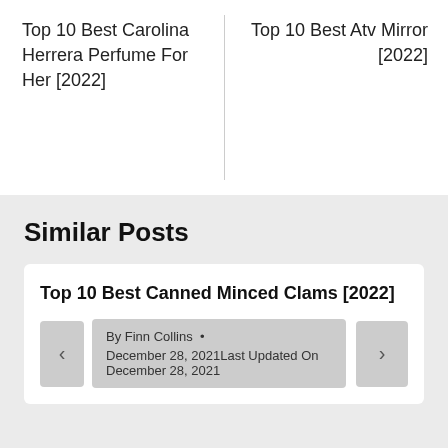Top 10 Best Carolina Herrera Perfume For Her [2022]
Top 10 Best Atv Mirror [2022]
Similar Posts
Top 10 Best Canned Minced Clams [2022]
By Finn Collins • December 28, 2021Last Updated On December 28, 2021